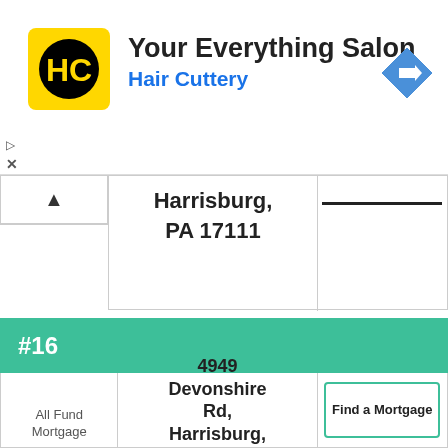[Figure (logo): Hair Cuttery HC logo - yellow square with black HC circular logo icon]
Your Everything Salon
Hair Cuttery
[Figure (illustration): Blue diamond navigation/directions icon with white right-arrow]
Harrisburg, PA 17111
| #16 |
| --- |
| All Fund Mortgage | 4949 Devonshire Rd, Harrisburg, | Find a Mortgage |